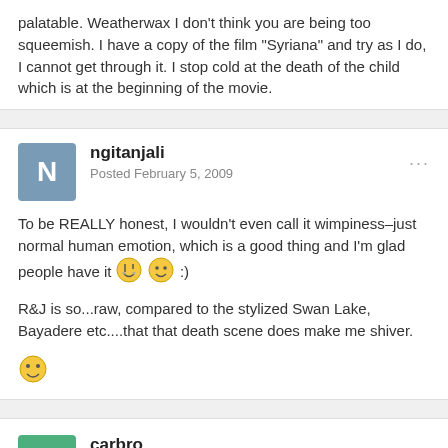palatable. Weatherwax I don't think you are being too squeemish. I have a copy of the film "Syriana" and try as I do, I cannot get through it. I stop cold at the death of the child which is at the beginning of the movie.
ngitanjali
Posted February 5, 2009
To be REALLY honest, I wouldn't even call it wimpiness–just normal human emotion, which is a good thing and I'm glad people have it 😢 🙂 :)
R&J is so...raw, compared to the stylized Swan Lake, Bayadere etc....that that death scene does make me shiver.
carbro
Posted February 5, 2009